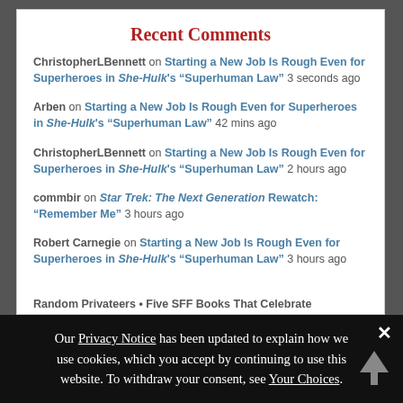Recent Comments
ChristopherLBennett on Starting a New Job Is Rough Even for Superheroes in She-Hulk's “Superhuman Law” 3 seconds ago
Arben on Starting a New Job Is Rough Even for Superheroes in She-Hulk's “Superhuman Law” 42 mins ago
ChristopherLBennett on Starting a New Job Is Rough Even for Superheroes in She-Hulk's “Superhuman Law” 2 hours ago
commbir on Star Trek: The Next Generation Rewatch: “Remember Me” 3 hours ago
Robert Carnegie on Starting a New Job Is Rough Even for Superheroes in She-Hulk's “Superhuman Law” 3 hours ago
Random Privateers • Five SFF Books That Celebrate...
Our Privacy Notice has been updated to explain how we use cookies, which you accept by continuing to use this website. To withdraw your consent, see Your Choices.